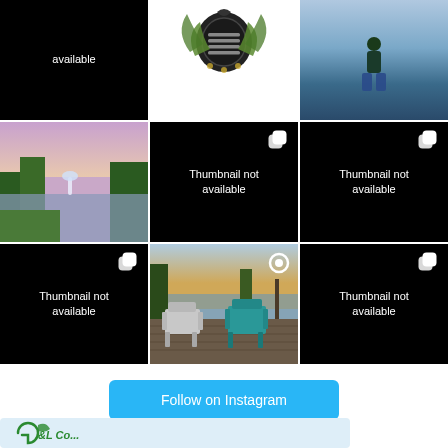[Figure (screenshot): Instagram grid showing 9 image thumbnails in a 3x3 layout. Top row: black cell with 'available' text, logo/emblem image, photo of person at marina. Middle row: photo of lake with fountain at sunset, two black cells with 'Thumbnail not available'. Bottom row: black cell with 'Thumbnail not available', photo of Adirondack chairs on dock, black cell with 'Thumbnail not available'.]
Follow on Instagram
[Figure (logo): Partial logo in light blue banner at bottom, showing stylized green G and partial text]